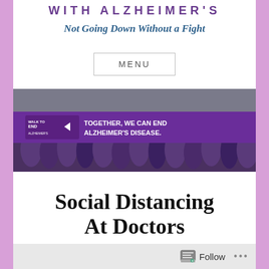WITH ALZHEIMER'S
Not Going Down Without a Fight
MENU
[Figure (photo): Banner image showing a large crowd of people in purple Walk to End Alzheimer's t-shirts holding colorful flower pinwheels, with a purple banner reading 'WALK TO END ALZHEIMER'S — TOGETHER, WE CAN END ALZHEIMER'S DISEASE.']
Social Distancing At Doctors
Follow ...